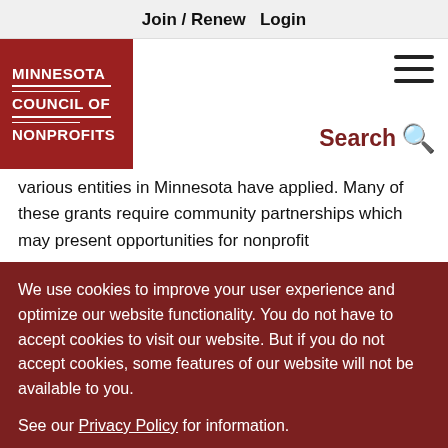Join / Renew   Login
[Figure (logo): Minnesota Council of Nonprofits logo — white text on red background]
various entities in Minnesota have applied. Many of these grants require community partnerships which may present opportunities for nonprofit
We use cookies to improve your user experience and optimize our website functionality. You do not have to accept cookies to visit our website. But if you do not accept cookies, some features of our website will not be available to you.
See our Privacy Policy for information.
Accept   Decline